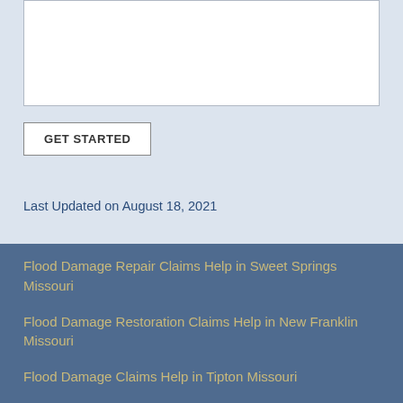[Figure (other): White textarea input box with resize handle at bottom right]
GET STARTED
Last Updated on August 18, 2021
Flood Damage Repair Claims Help in Sweet Springs Missouri
Flood Damage Restoration Claims Help in New Franklin Missouri
Flood Damage Claims Help in Tipton Missouri
Flood Damage Repair Claims Help in Warrensburg